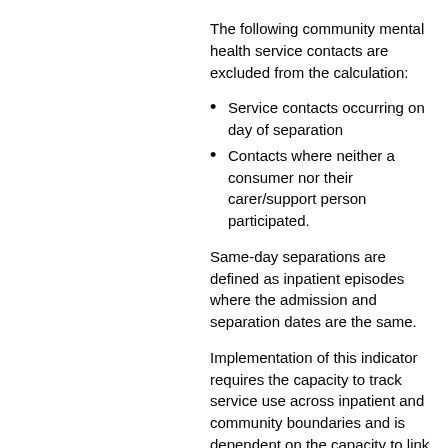The following community mental health service contacts are excluded from the calculation:
Service contacts occurring on day of separation
Contacts where neither a consumer nor their carer/support person participated.
Same-day separations are defined as inpatient episodes where the admission and separation dates are the same.
Implementation of this indicator requires the capacity to track service use across inpatient and community boundaries and is dependent on the capacity to link patient identifiers.